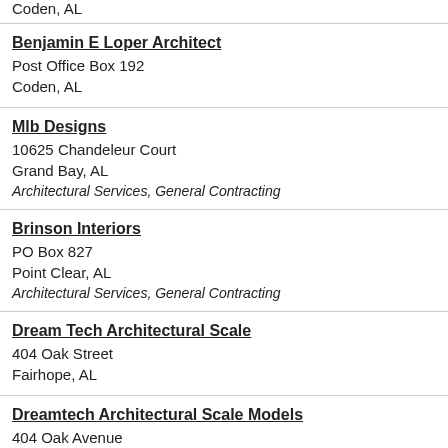Coden, AL
Benjamin E Loper Architect
Post Office Box 192
Coden, AL
Mlb Designs
10625 Chandeleur Court
Grand Bay, AL
Architectural Services, General Contracting
Brinson Interiors
PO Box 827
Point Clear, AL
Architectural Services, General Contracting
Dream Tech Architectural Scale
404 Oak Street
Fairhope, AL
Dreamtech Architectural Scale Models
404 Oak Avenue